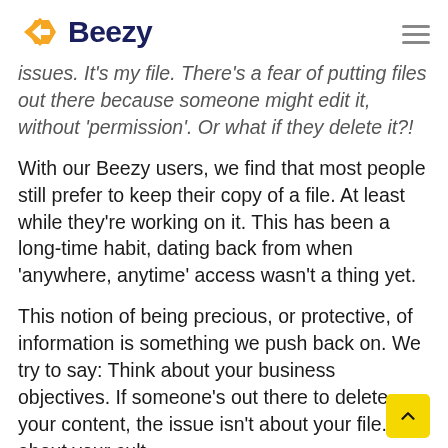Beezy
issues. It's my file. There's a fear of putting files out there because someone might edit it, without 'permission'. Or what if they delete it?!
With our Beezy users, we find that most people still prefer to keep their copy of a file. At least while they're working on it. This has been a long-time habit, dating back from when 'anywhere, anytime' access wasn't a thing yet.
This notion of being precious, or protective, of information is something we push back on. We try to say: Think about your business objectives. If someone's out there to delete your content, the issue isn't about your file. It's about your cult It's about trust.